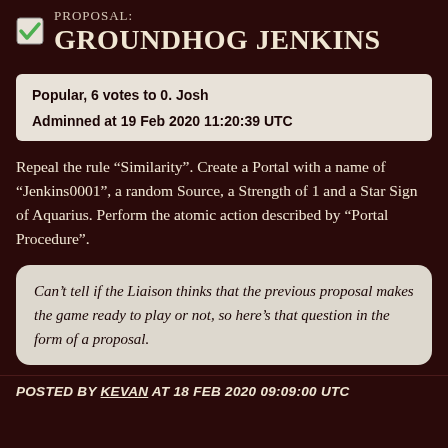PROPOSAL: GROUNDHOG JENKINS
Popular, 6 votes to 0. Josh
Adminned at 19 Feb 2020 11:20:39 UTC
Repeal the rule “Similarity”. Create a Portal with a name of “Jenkins0001”, a random Source, a Strength of 1 and a Star Sign of Aquarius. Perform the atomic action described by “Portal Procedure”.
Can’t tell if the Liaison thinks that the previous proposal makes the game ready to play or not, so here’s that question in the form of a proposal.
POSTED BY KEVAN AT 18 FEB 2020 09:09:00 UTC